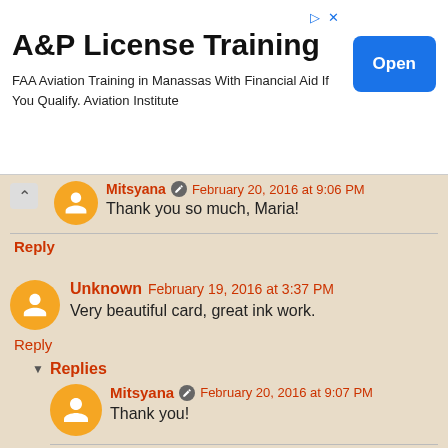[Figure (screenshot): Advertisement banner: A&P License Training. FAA Aviation Training in Manassas With Financial Aid If You Qualify. Aviation Institute. Open button.]
Mitsyana February 20, 2016 at 9:06 PM
Thank you so much, Maria!
Reply
Unknown February 19, 2016 at 3:37 PM
Very beautiful card, great ink work.
Reply
Replies
Mitsyana February 20, 2016 at 9:07 PM
Thank you!
Reply